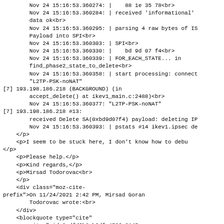Nov 24 15:16:53.360274: |    88 1e 35 78<br>
        Nov 24 15:16:53.360284: | received 'informational'
        data ok<br>
        Nov 24 15:16:53.360295: | parsing 4 raw bytes of IS
        Payload into SPI<br>
        Nov 24 15:16:53.360303: | SPI<br>
        Nov 24 15:16:53.360330: |    bd 9d 07 f4<br>
        Nov 24 15:16:53.360339: | FOR_EACH_STATE... in
        find_phase2_state_to_delete<br>
        Nov 24 15:16:53.360358: | start processing: connect
        "L2TP-PSK-noNAT"
[7] 193.198.186.218 (BACKGROUND) (in
        accept_delete() at ikev1_main.c:2488)<br>
        Nov 24 15:16:53.360377: "L2TP-PSK-noNAT"
[7] 193.198.186.218 #13:
        received Delete SA(0xbd9d07f4) payload: deleting IP
        Nov 24 15:16:53.360393: | pstats #14 ikev1.ipsec de
    </p>
    <p>I seem to be stuck here, I don't know how to debu
</p>
    <p>Please help.</p>
    <p>Kind regards,</p>
    <p>Mirsad Todorovac<br>
    </p>
    <div class="moz-cite-
prefix">On 11/24/2021 2:42 PM, Mirsad Goran
        Todorovac wrote:<br>
    </div>
    <blockquote type="cite"
        cite="mid:8adfd6b8-b2df-4736-0145-